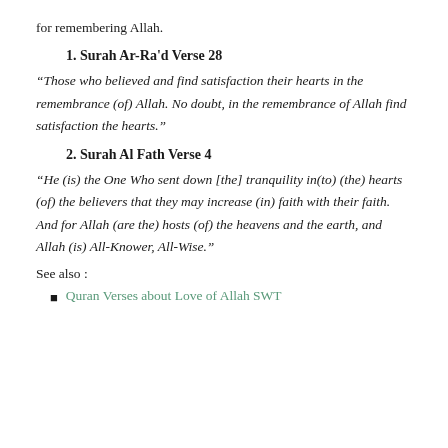for remembering Allah.
1. Surah Ar-Ra'd Verse 28
“Those who believed and find satisfaction their hearts in the remembrance (of) Allah. No doubt, in the remembrance of Allah find satisfaction the hearts.”
2. Surah Al Fath Verse 4
“He (is) the One Who sent down [the] tranquility in(to) (the) hearts (of) the believers that they may increase (in) faith with their faith. And for Allah (are the) hosts (of) the heavens and the earth, and Allah (is) All-Knower, All-Wise.”
See also :
Quran Verses about Love of Allah SWT